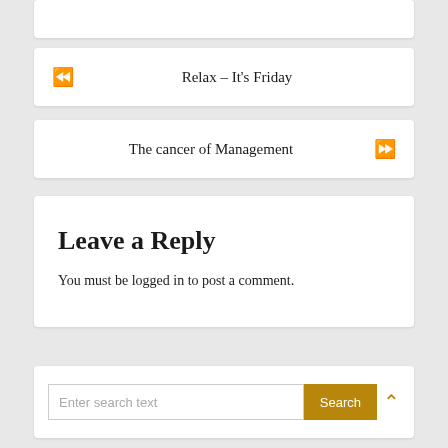Relax – It's Friday
The cancer of Management
Leave a Reply
You must be logged in to post a comment.
Enter search text  Search